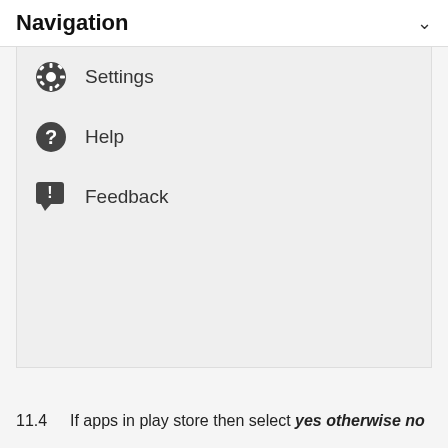Navigation
Settings
Help
Feedback
11.4	If apps in play store then select yes otherwise no